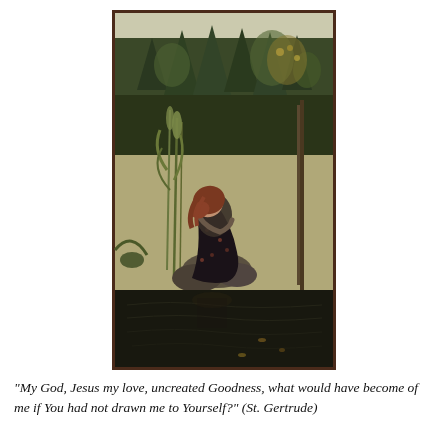[Figure (illustration): A Romantic-era painting of a young woman with auburn hair, dressed in a dark floral dress, sitting hunched over on rocks beside a still pond or stream. She appears to be resting or weeping, with lush reeds, tall grasses, and a dark forest of evergreen and deciduous trees behind her. The scene is melancholic and contemplative, rendered in earthy, muted tones.]
"My God, Jesus my love, uncreated Goodness, what would have become of me if You had not drawn me to Yourself?" (St. Gertrude)